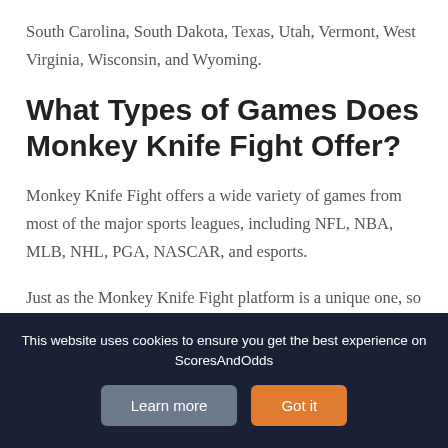South Carolina, South Dakota, Texas, Utah, Vermont, West Virginia, Wisconsin, and Wyoming.
What Types of Games Does Monkey Knife Fight Offer?
Monkey Knife Fight offers a wide variety of games from most of the major sports leagues, including NFL, NBA, MLB, NHL, PGA, NASCAR, and esports.
Just as the Monkey Knife Fight platform is a unique one, so are the game types offered by Monkey Knife Fight
This website uses cookies to ensure you get the best experience on ScoresAndOdds
Learn more
Got it